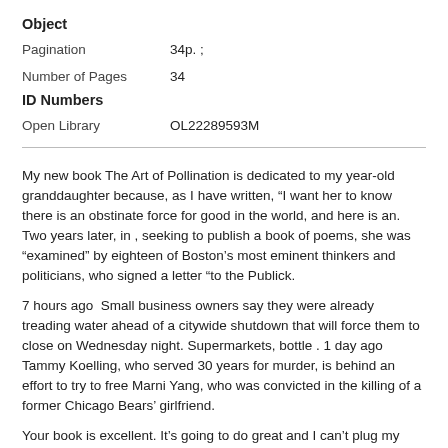Object
| Pagination | 34p. ; |
| Number of Pages | 34 |
ID Numbers
| Open Library | OL22289593M |
My new book The Art of Pollination is dedicated to my year-old granddaughter because, as I have written, “I want her to know there is an obstinate force for good in the world, and here is an.   Two years later, in , seeking to publish a book of poems, she was “examined” by eighteen of Boston’s most eminent thinkers and politicians, who signed a letter “to the Publick.
7 hours ago  Small business owners say they were already treading water ahead of a citywide shutdown that will force them to close on Wednesday night. Supermarkets, bottle . 1 day ago  Tammy Koelling, who served 30 years for murder, is behind an effort to try to free Marni Yang, who was convicted in the killing of a former Chicago Bears’ girlfriend.
Your book is excellent. It’s going to do great and I can’t plug my book anymore because frankly, I’m sick of it. Final Thoughts, next. GUTFELD: We are out of time. Thanks to Ben Shapiro. Buy his book. In his new memoir “Laugh Lines: My Life Helping Funny People Be